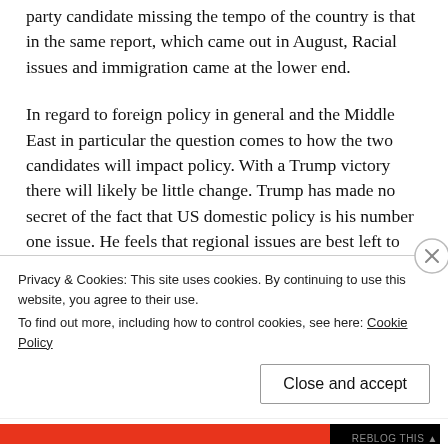party candidate missing the tempo of the country is that in the same report, which came out in August, Racial issues and immigration came at the lower end.
In regard to foreign policy in general and the Middle East in particular the question comes to how the two candidates will impact policy. With a Trump victory there will likely be little change. Trump has made no secret of the fact that US domestic policy is his number one issue. He feels that regional issues are best left to regional players. While he has recently made headlines by brokering historic treaties between Israel and Arab nations UAE and Bahrain were the first two Arab nations to recognize Israel in over 25 years and it was recently announced that Sudan will join this group. Peace in the Midd
Privacy & Cookies: This site uses cookies. By continuing to use this website, you agree to their use.
To find out more, including how to control cookies, see here: Cookie Policy
Close and accept